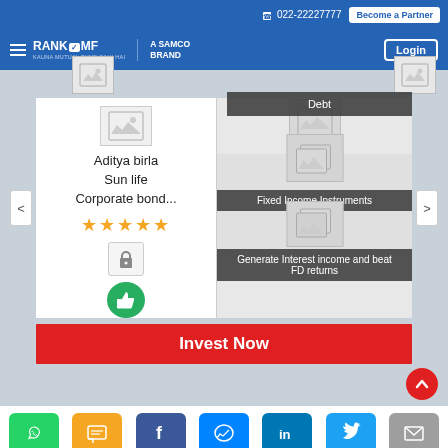022-22227777  Become a Partner
RANKMF A SAMCO BRAND  Login
Aditya birla Sun life Corporate bond...
[Figure (screenshot): Five gold/yellow stars rating]
[Figure (screenshot): Lock icon and thumbs up icon]
Debt
Fixed Income Instruments
Generate Interest income and beat FD returns
Invest Now
[Figure (screenshot): Social share bar: WhatsApp, SMS, Facebook, Messenger, LinkedIn, Twitter, Email]